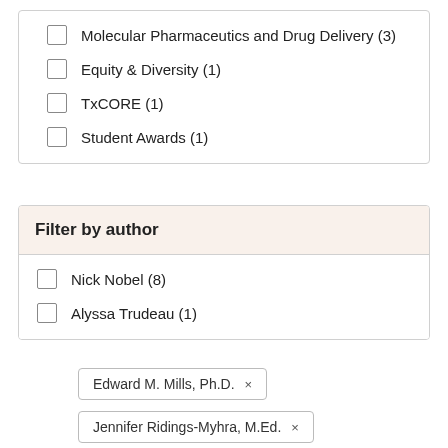Molecular Pharmaceutics and Drug Delivery (3)
Equity & Diversity (1)
TxCORE (1)
Student Awards (1)
Filter by author
Nick Nobel (8)
Alyssa Trudeau (1)
Edward M. Mills, Ph.D. ×
Jennifer Ridings-Myhra, M.Ed. ×